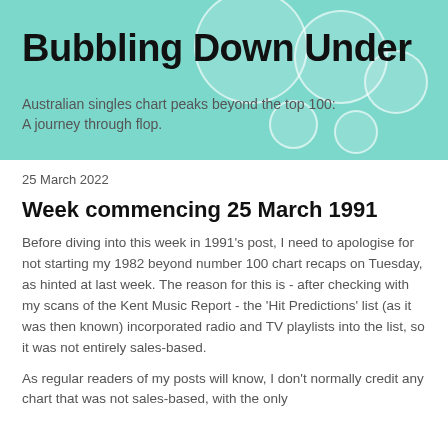Bubbling Down Under
Australian singles chart peaks beyond the top 100: A journey through flop.
25 March 2022
Week commencing 25 March 1991
Before diving into this week in 1991's post, I need to apologise for not starting my 1982 beyond number 100 chart recaps on Tuesday, as hinted at last week.  The reason for this is - after checking with my scans of the Kent Music Report - the 'Hit Predictions' list (as it was then known) incorporated radio and TV playlists into the list, so it was not entirely sales-based.
As regular readers of my posts will know, I don't normally credit any chart that was not sales-based, with the only